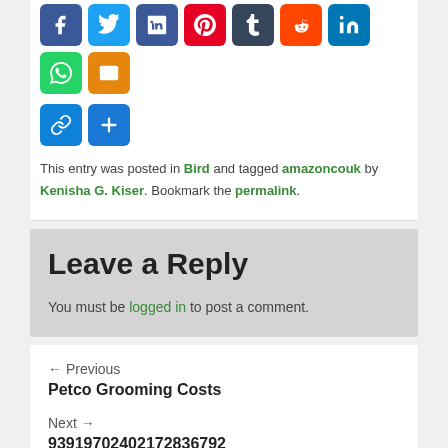[Figure (other): Social sharing icon buttons: Facebook, Twitter, LinkedIn-blue, Pinterest, Tumblr, Reddit, LinkedIn, WhatsApp, Email, Link, Plus]
This entry was posted in Bird and tagged amazoncouk by Kenisha G. Kiser. Bookmark the permalink.
Leave a Reply
You must be logged in to post a comment.
← Previous
Petco Grooming Costs
Next →
93919702402172836792 66397415285615466338 38594118528952417253 ÇáÃÑÔìÝ